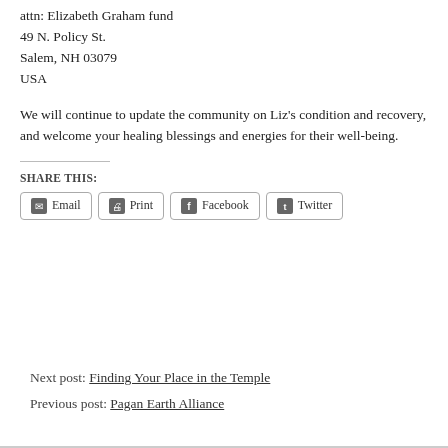attn: Elizabeth Graham fund
49 N. Policy St.
Salem, NH 03079
USA
We will continue to update the community on Liz's condition and recovery, and welcome your healing blessings and energies for their well-being.
SHARE THIS:
Email  Print  Facebook  Twitter
Next post: Finding Your Place in the Temple
Previous post: Pagan Earth Alliance